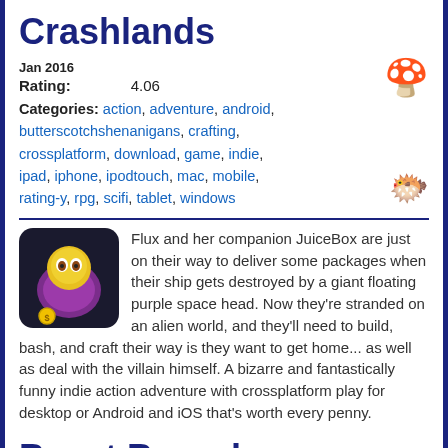Crashlands
Jan 2016
Rating: 4.06
Categories: action, adventure, android, butterscotchshenanigans, crafting, crossplatform, download, game, indie, ipad, iphone, ipodtouch, mac, mobile, rating-y, rpg, scifi, tablet, windows
Flux and her companion JuiceBox are just on their way to deliver some packages when their ship gets destroyed by a giant floating purple space head. Now they're stranded on an alien world, and they'll need to build, bash, and craft their way is they want to get home... as well as deal with the villain himself. A bizarre and fantastically funny indie action adventure with crossplatform play for desktop or Android and iOS that's worth every penny.
Beast Bound